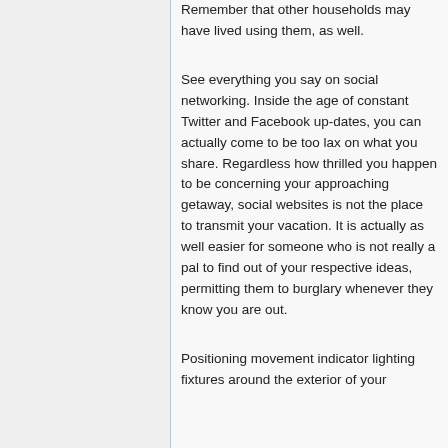Remember that other households may have lived using them, as well.
See everything you say on social networking. Inside the age of constant Twitter and Facebook up-dates, you can actually come to be too lax on what you share. Regardless how thrilled you happen to be concerning your approaching getaway, social websites is not the place to transmit your vacation. It is actually as well easier for someone who is not really a pal to find out of your respective ideas, permitting them to burglary whenever they know you are out.
Positioning movement indicator lighting fixtures around the exterior of your